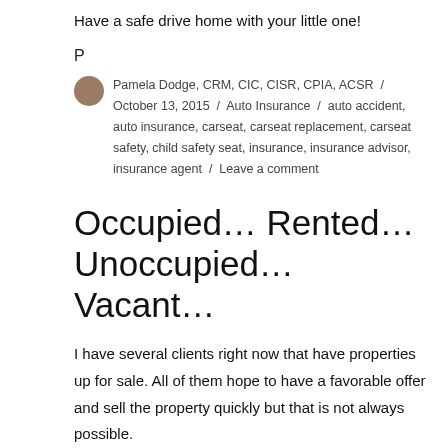Have a safe drive home with your little one!
P
Pamela Dodge, CRM, CIC, CISR, CPIA, ACSR / October 13, 2015 / Auto Insurance / auto accident, auto insurance, carseat, carseat replacement, carseat safety, child safety seat, insurance, insurance advisor, insurance agent / Leave a comment
Occupied… Rented… Unoccupied… Vacant…
I have several clients right now that have properties up for sale. All of them hope to have a favorable offer and sell the property quickly but that is not always possible.